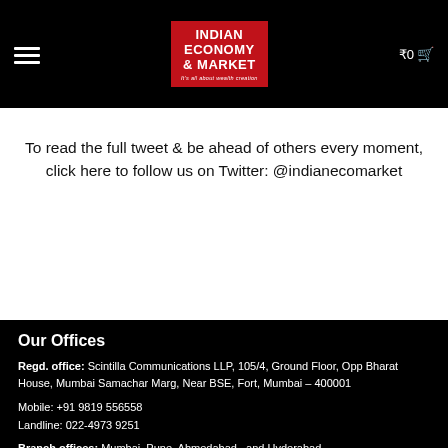Indian Economy & Market — ₹0 cart
To read the full tweet & be ahead of others every moment, click here to follow us on Twitter: @indianecomarket
Our Offices
Regd. office: Scintilla Communications LLP, 105/4, Ground Floor, Opp Bharat House, Mumbai Samachar Marg, Near BSE, Fort, Mumbai – 400001
Mobile: +91 9819 556558
Landline: 022-4973 9251
Branch offices: Mumbai, Pune, Ahmedabad, and Hyderabad